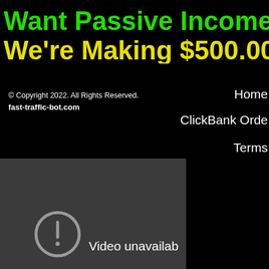Want Passive Income from W... We're Making $500.000 EVE...
© Copyright 2022. All Rights Reserved. fast-traffic-bot.com
Home
ClickBank Orde...
Terms
[Figure (screenshot): Embedded video player showing 'Video unavailab...' with a circular warning icon on a dark grey background]